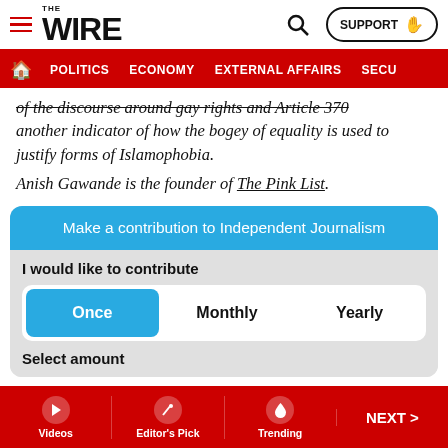THE WIRE — SUPPORT
POLITICS | ECONOMY | EXTERNAL AFFAIRS | SECU...
of the discourse around gay rights and Article 370 another indicator of how the bogey of equality is used to justify forms of Islamophobia.
Anish Gawande is the founder of The Pink List.
[Figure (screenshot): Make a contribution to Independent Journalism widget with Once/Monthly/Yearly options and Select amount section]
Videos | Editor's Pick | Trending | NEXT >